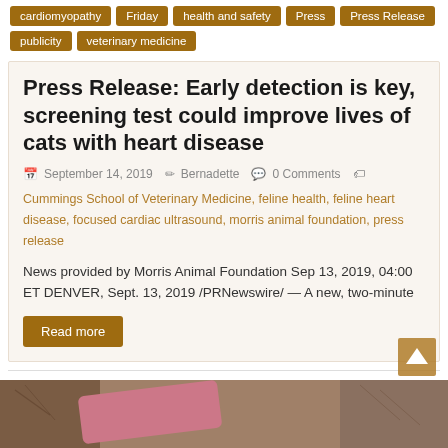cardiomyopathy
Friday
health and safety
Press
Press Release
publicity
veterinary medicine
Press Release: Early detection is key, screening test could improve lives of cats with heart disease
September 14, 2019   Bernadette   0 Comments
Cummings School of Veterinary Medicine, feline health, feline heart disease, focused cardiac ultrasound, morris animal foundation, press release
News provided by Morris Animal Foundation Sep 13, 2019, 04:00 ET DENVER, Sept. 13, 2019 /PRNewswire/ — A new, two-minute
Read more